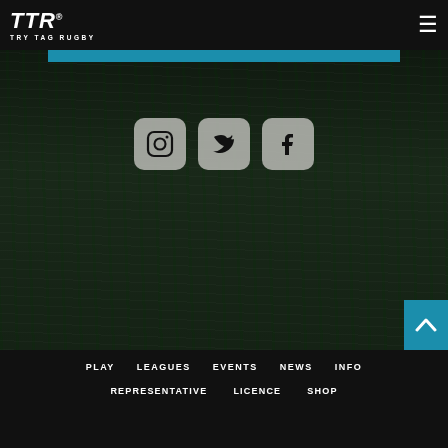[Figure (logo): TTR Try Tag Rugby logo in white on black navbar]
[Figure (screenshot): Dark green grass background with blue horizontal bar near top, three social media icons (Instagram, Twitter, Facebook) in rounded square buttons]
PLAY   LEAGUES   EVENTS   NEWS   INFO
REPRESENTATIVE   LICENCE   SHOP